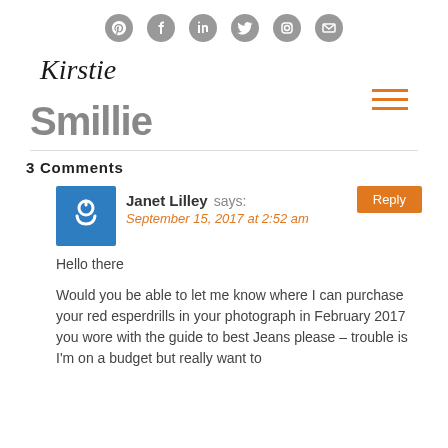Social icons: Pinterest, Facebook, LinkedIn, Twitter, Instagram, Email
[Figure (logo): Kirstie Smillie blog logo with cursive Kirstie above bold grey Smillie text, with hamburger menu icon in orange]
3 Comments
[Figure (illustration): Blue square avatar with white power button icon]
Janet Lilley says:
September 15, 2017 at 2:52 am
Hello there
Would you be able to let me know where I can purchase your red esperdrills in your photograph in February 2017 you wore with the guide to best Jeans please – trouble is I'm on a budget but really want to